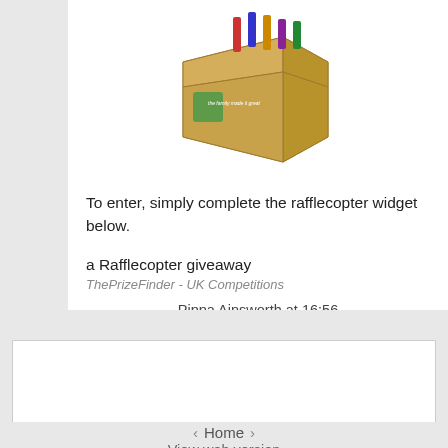[Figure (photo): Partial view of a cardboard box/package with colorful markers or pens sticking out from the top, green branding visible on the side]
To enter, simply complete the rafflecopter widget below.
a Rafflecopter giveaway
ThePrizeFinder - UK Competitions
Pippa Ainsworth at 16:56
[Figure (other): White rectangle widget area (empty/placeholder)]
‹  Home  ›
View web version